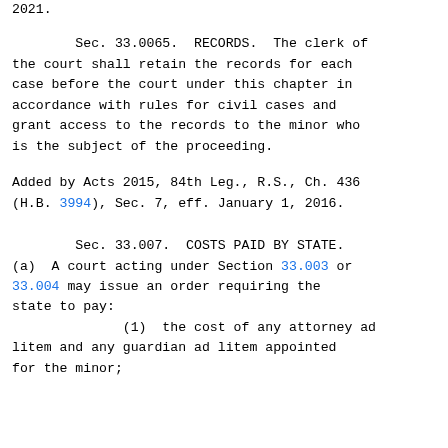2021.
Sec. 33.0065.  RECORDS.  The clerk of the court shall retain the records for each case before the court under this chapter in accordance with rules for civil cases and grant access to the records to the minor who is the subject of the proceeding.
Added by Acts 2015, 84th Leg., R.S., Ch. 436 (H.B. 3994), Sec. 7, eff. January 1, 2016.
Sec. 33.007.  COSTS PAID BY STATE. (a)  A court acting under Section 33.003 or 33.004 may issue an order requiring the state to pay:
(1)  the cost of any attorney ad litem and any guardian ad litem appointed for the minor;